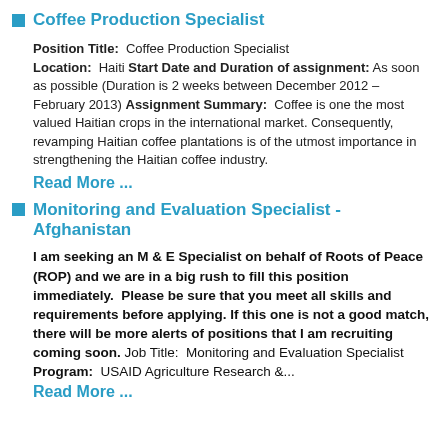Coffee Production Specialist
Position Title: Coffee Production Specialist Location: Haiti Start Date and Duration of assignment: As soon as possible (Duration is 2 weeks between December 2012 – February 2013) Assignment Summary: Coffee is one the most valued Haitian crops in the international market. Consequently, revamping Haitian coffee plantations is of the utmost importance in strengthening the Haitian coffee industry.
Read More ...
Monitoring and Evaluation Specialist - Afghanistan
I am seeking an M & E Specialist on behalf of Roots of Peace (ROP) and we are in a big rush to fill this position immediately. Please be sure that you meet all skills and requirements before applying. If this one is not a good match, there will be more alerts of positions that I am recruiting coming soon. Job Title: Monitoring and Evaluation Specialist Program: USAID Agriculture Research &...
Read More ...